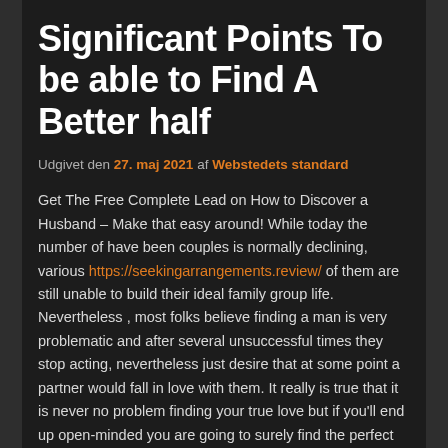Significant Points To be able to Find A Better half
Udgivet den 27. maj 2021 af Webstedets standard
Get The Free Complete Lead on How to Discover a Husband – Make that easy around! While today the number of have been couples is normally declining, various https://seekingarrangements.review/ of them are still unable to build their ideal family group life. Nevertheless , most folks believe finding a man is very problematic and after several unsuccessful times they stop acting, nevertheless just desire that at some point a partner would fall in love with them. It really is true that it is never no problem finding your true love but if you'll end up open-minded you are going to surely find the perfect match. Before, marriage ceremonies had been considered synonymous with social status. Today most couples wish to stay solo and get married to later on.